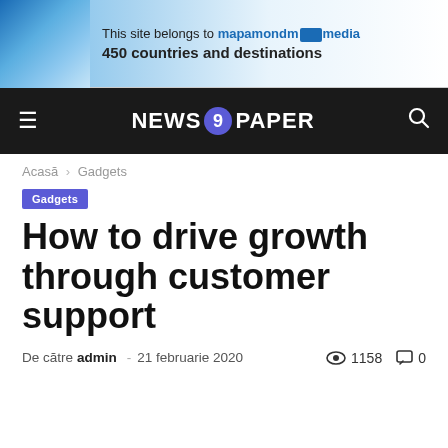[Figure (illustration): Banner advertisement: 'This site belongs to mapamondmedia – 450 countries and destinations' with globe map graphic on left side]
NEWS 9 PAPER
Acasă › Gadgets
Gadgets
How to drive growth through customer support
De către admin - 21 februarie 2020   1158   0